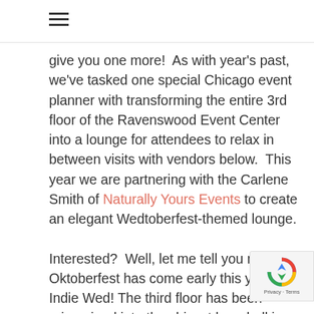≡
give you one more!  As with year's past, we've tasked one special Chicago event planner with transforming the entire 3rd floor of the Ravenswood Event Center into a lounge for attendees to relax in between visits with vendors below.  This year we are partnering with the Carlene Smith of Naturally Yours Events to create an elegant Wedtoberfest-themed lounge.

Interested?  Well, let me tell you more! Oktoberfest has come early this year at Indie Wed! The third floor has been reimagined into the chicest beer hall in the city, with a quirky and bright color palette that will combat any winter
[Figure (logo): reCAPTCHA badge with Privacy - Terms text]